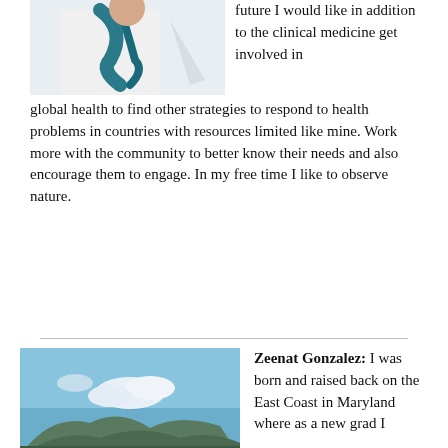[Figure (photo): Partial view of a person in a white coat with teal/blue accents, appearing to be a medical professional]
future I would like in addition to the clinical medicine get involved in global health to find other strategies to respond to health problems in countries with resources limited like mine. Work more with the community to better know their needs and also encourage them to engage. In my free time I like to observe nature.
[Figure (photo): Landscape photo showing mountains under a blue sky with clouds]
Zeenat Gonzalez: I was born and raised back on the East Coast in Maryland where as a new grad I